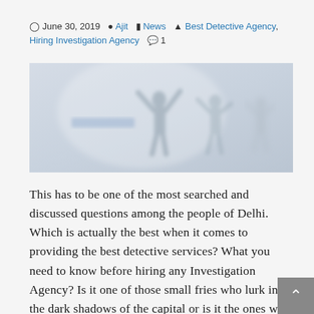June 30, 2019  Ajit  News  Best Detective Agency, Hiring Investigation Agency  1
[Figure (photo): Faded/washed-out photo of silhouetted people in a bright hazy background, possibly a detective or investigation themed image]
This has to be one of the most searched and discussed questions among the people of Delhi. Which is actually the best when it comes to providing the best detective services? What you need to know before hiring any Investigation Agency? Is it one of those small fries who lurk in the dark shadows of the capital or is it the ones who operate at a higher level and